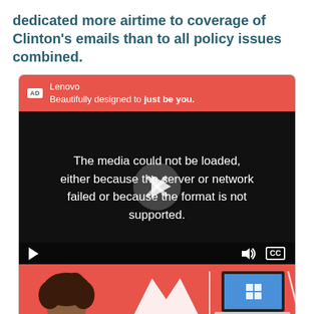dedicated more airtime to coverage of Clinton's emails than to all policy issues combined.
[Figure (screenshot): Lenovo advertisement with video player showing error message 'The media could not be loaded, either because the server or network failed or because the format is not supported.' with play button overlay and video controls. Below is the start of a Lenovo product ad with a red background and a person with curly hair.]